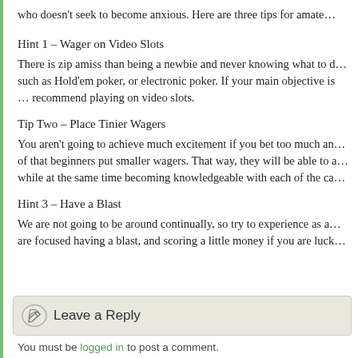who doesn't seek to become anxious. Here are three tips for amate…
Hint 1 – Wager on Video Slots
There is zip amiss than being a newbie and never knowing what to d… such as Hold'em poker, or electronic poker. If your main objective is … recommend playing on video slots.
Tip Two – Place Tinier Wagers
You aren't going to achieve much excitement if you bet too much an… of that beginners put smaller wagers. That way, they will be able to a… while at the same time becoming knowledgeable with each of the ca…
Hint 3 – Have a Blast
We are not going to be around continually, so try to experience as a… are focused having a blast, and scoring a little money if you are luck…
Leave a Reply
You must be logged in to post a comment.